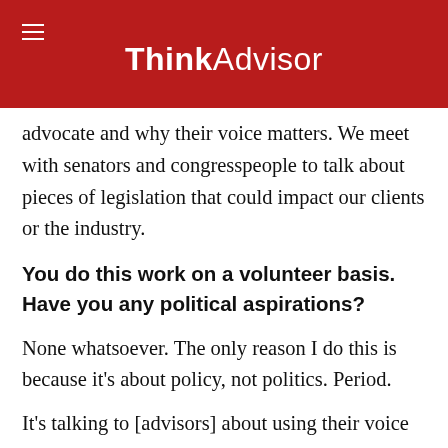ThinkAdvisor
advocate and why their voice matters. We meet with senators and congresspeople to talk about pieces of legislation that could impact our clients or the industry.
You do this work on a volunteer basis. Have you any political aspirations?
None whatsoever. The only reason I do this is because it’s about policy, not politics. Period.
It’s talking to [advisors] about using their voice and how important it is to spend time working on things in Washington and at the state level that are important to our clients and advisors. It’s about